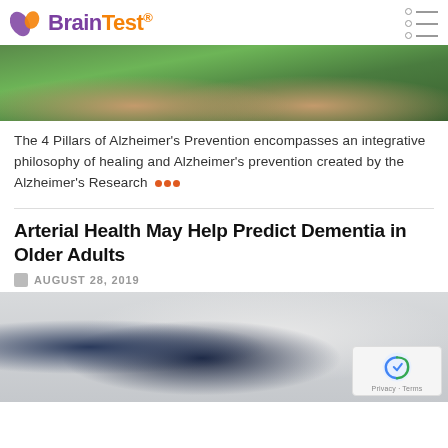BrainTest
[Figure (photo): Aerial view of two people lying on grass with arms outstretched]
The 4 Pillars of Alzheimer's Prevention encompasses an integrative philosophy of healing and Alzheimer's prevention created by the Alzheimer's Research …
Arterial Health May Help Predict Dementia in Older Adults
AUGUST 28, 2019
[Figure (photo): Doctor in white coat with stethoscope]